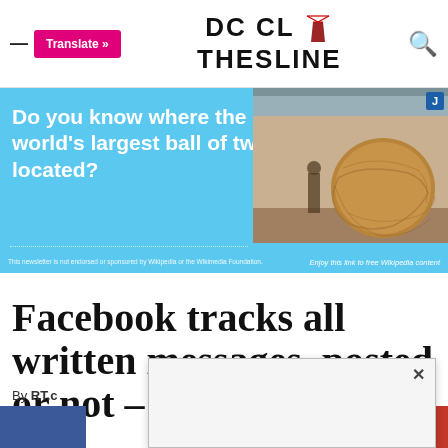DC CLOTHESLINE
[Figure (infographic): Advertisement banner with cyan background asking 'Do you know where the world's largest ball of twine is located?' with image of large ball of twine on right side. Wikipedia newsletter disclaimer at bottom.]
Facebook tracks all written messages, posted or not – study
By RT.c
[Figure (screenshot): Popup/modal overlay with close X button, partially covering the article content and byline]